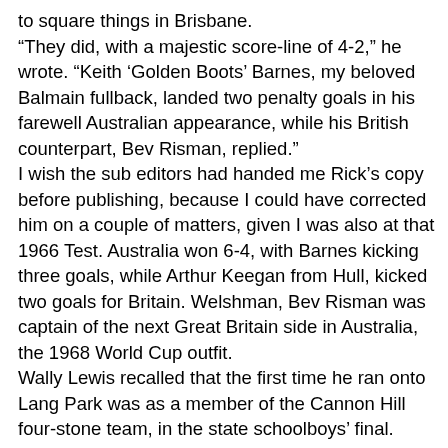to square things in Brisbane. “They did, with a majestic score-line of 4-2,” he wrote. “Keith ‘Golden Boots’ Barnes, my beloved Balmain fullback, landed two penalty goals in his farewell Australian appearance, while his British counterpart, Bev Risman, replied.” I wish the sub editors had handed me Rick’s copy before publishing, because I could have corrected him on a couple of matters, given I was also at that 1966 Test. Australia won 6-4, with Barnes kicking three goals, while Arthur Keegan from Hull, kicked two goals for Britain. Welshman, Bev Risman was captain of the next Great Britain side in Australia, the 1968 World Cup outfit. Wally Lewis recalled that the first time he ran onto Lang Park was as a member of the Cannon Hill four-stone team, in the state schoolboys’ final. Lang Park was familiar territory for Wally, because his grandparents, on both sides of the family, lived within 300 metres of the ground. Athletics and cycling were big at Lang Park in the 1930s, with meetings every weekend, and under lights on Wednesday nights. They often combined both sports, with